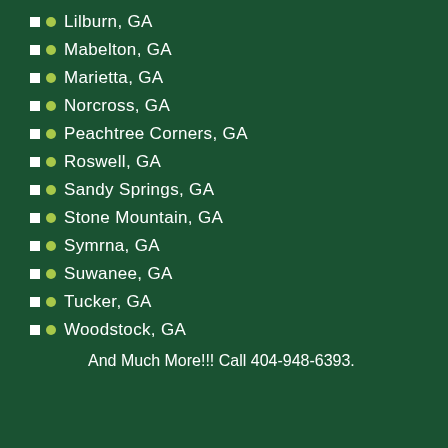Lilburn, GA
Mabelton, GA
Marietta, GA
Norcross, GA
Peachtree Corners, GA
Roswell, GA
Sandy Springs, GA
Stone Mountain, GA
Symrna, GA
Suwanee, GA
Tucker, GA
Woodstock, GA
And Much More!!! Call 404-948-6393.